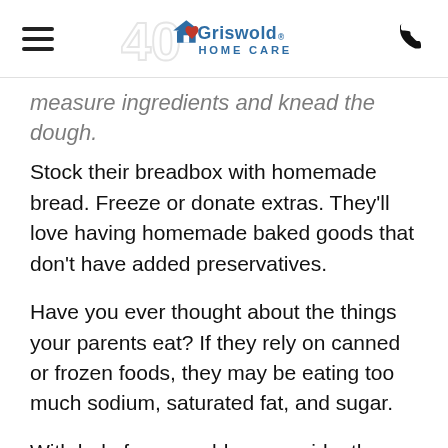Griswold Home Care (40th anniversary logo)
measure ingredients and knead the dough.
Stock their breadbox with homemade bread. Freeze or donate extras. They'll love having homemade baked goods that don't have added preservatives.
Have you ever thought about the things your parents eat? If they rely on canned or frozen foods, they may be eating too much sodium, saturated fat, and sugar.
With help from an elder care aide, they can improve their diet and meet their nutritional